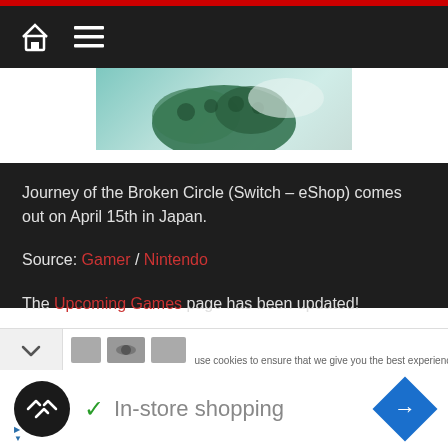Navigation bar with home and menu icons
[Figure (photo): Partial game image showing a dark green textured shape on a light teal/green background]
Journey of the Broken Circle (Switch – eShop) comes out on April 15th in Japan.
Source: Gamer / Nintendo
The Upcoming Games page has been updated!
use cookies to ensure that we give you the best experience on
In-store shopping